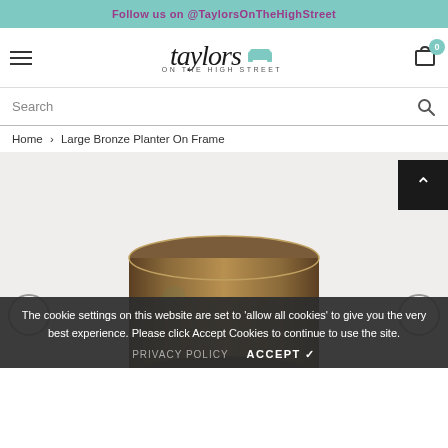Follow us on @TaylorsOnTheHighStreet
[Figure (logo): Taylors On The High Street logo with sofa icon]
Search
Home > Large Bronze Planter On Frame
[Figure (photo): Large Bronze Planter on metal frame, partially visible from above]
The cookie settings on this website are set to 'allow all cookies' to give you the very best experience. Please click Accept Cookies to continue to use the site.
PRIVACY POLICY   ACCEPT ✓